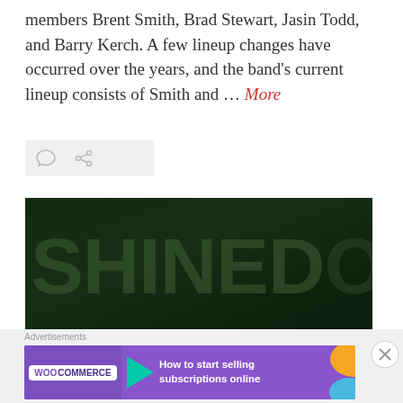members Brent Smith, Brad Stewart, Jasin Todd, and Barry Kerch. A few lineup changes have occurred over the years, and the band's current lineup consists of Smith and … More
[Figure (other): Icon bar with comment bubble and share/link icons on a light grey background]
[Figure (photo): Dark green background with large partially-visible text reading SHINEDOWN in grey/green letters, appearing to be a concert or band signage photo]
[Figure (other): Advertisement banner for WooCommerce with purple background, WooCommerce logo, teal arrow, text reading 'How to start selling subscriptions online', and orange/blue decorative shapes]